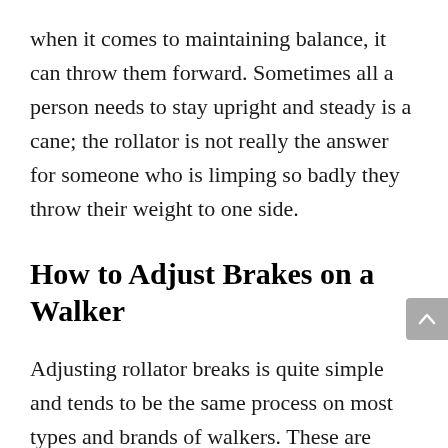when it comes to maintaining balance, it can throw them forward. Sometimes all a person needs to stay upright and steady is a cane; the rollator is not really the answer for someone who is limping so badly they throw their weight to one side.
How to Adjust Brakes on a Walker
Adjusting rollator breaks is quite simple and tends to be the same process on most types and brands of walkers. These are general instructions about how to adjust the brakes on